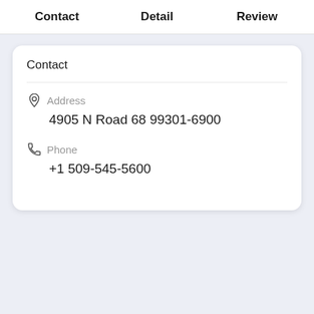Contact  Detail  Review
Contact
Address
4905 N Road 68 99301-6900
Phone
+1 509-545-5600